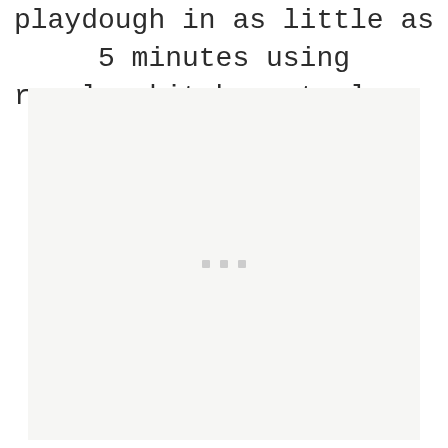playdough in as little as 5 minutes using regular kitchen staples.  No trip [...]
[Figure (other): Large light gray placeholder/image area with three small gray square dots centered vertically]